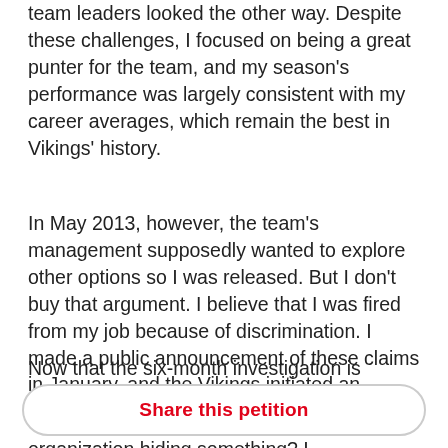team leaders looked the other way. Despite these challenges, I focused on being a great punter for the team, and my season's performance was largely consistent with my career averages, which remain the best in Vikings' history.
In May 2013, however, the team's management supposedly wanted to explore other options so I was released. But I don't buy that argument. I believe that I was fired from my job because of discrimination. I made a public announcement of these claims in January, and the Vikings initiated an independent investigation into my claims.
Now that the six-month investigation is complete, the team does not want to make the complete findings public. Why? Is the organization hiding something? I
Share this petition